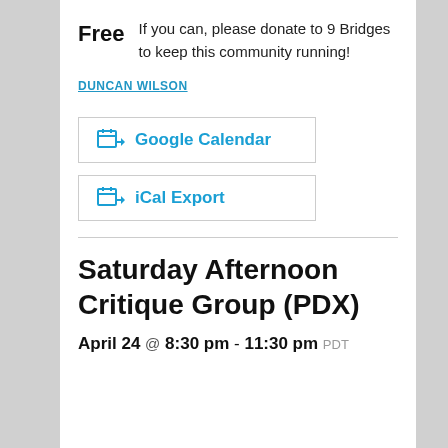Free   If you can, please donate to 9 Bridges to keep this community running!
DUNCAN WILSON
Google Calendar
iCal Export
Saturday Afternoon Critique Group (PDX)
April 24 @ 8:30 pm - 11:30 pm PDT